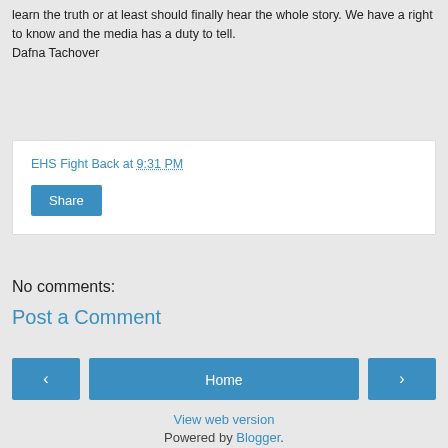learn the truth or at least should finally hear the whole story. We have a right to know and the media has a duty to tell.
Dafna Tachover
EHS Fight Back at 9:31 PM
Share
No comments:
Post a Comment
‹
Home
›
View web version
Powered by Blogger.